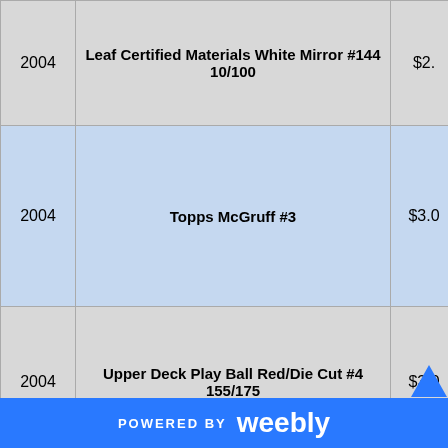| Year | Card Name | Price |
| --- | --- | --- |
| 2004 | Leaf Certified Materials White Mirror #144 10/100 | $2.5 |
| 2004 | Topps McGruff #3 | $3.0 |
| 2004 | Upper Deck Play Ball Red/Die Cut #4 155/175 | $3.0 |
POWERED BY weebly